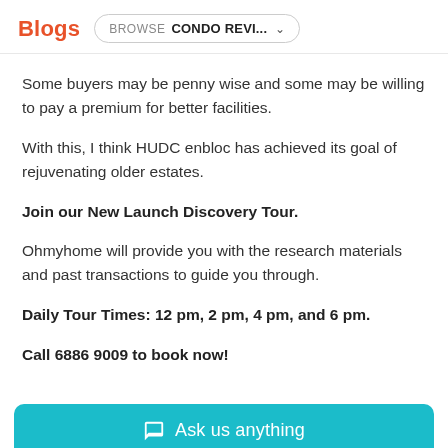Blogs  BROWSE  CONDO REVI...
Some buyers may be penny wise and some may be willing to pay a premium for better facilities.
With this, I think HUDC enbloc has achieved its goal of rejuvenating older estates.
Join our New Launch Discovery Tour.
Ohmyhome will provide you with the research materials and past transactions to guide you through.
Daily Tour Times: 12 pm, 2 pm, 4 pm, and 6 pm.
Call 6886 9009 to book now!
[Figure (other): Teal call-to-action button with chat icon and text 'Ask us anything']